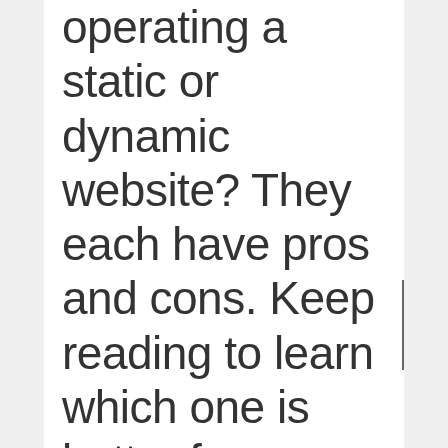operating a static or dynamic website? They each have pros and cons. Keep reading to learn which one is better for your SEO.